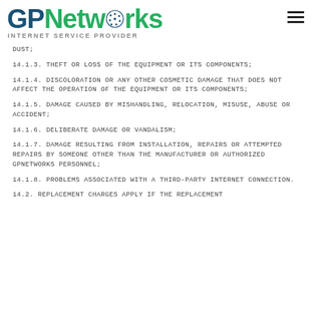GPNetworks INTERNET SERVICE PROVIDER
DUST;
14.1.3. THEFT OR LOSS OF THE EQUIPMENT OR ITS COMPONENTS;
14.1.4. DISCOLORATION OR ANY OTHER COSMETIC DAMAGE THAT DOES NOT AFFECT THE OPERATION OF THE EQUIPMENT OR ITS COMPONENTS;
14.1.5. DAMAGE CAUSED BY MISHANDLING, RELOCATION, MISUSE, ABUSE OR ACCIDENT;
14.1.6. DELIBERATE DAMAGE OR VANDALISM;
14.1.7. DAMAGE RESULTING FROM INSTALLATION, REPAIRS OR ATTEMPTED REPAIRS BY SOMEONE OTHER THAN THE MANUFACTURER OR AUTHORIZED GPNETWORKS PERSONNEL;
14.1.8. PROBLEMS ASSOCIATED WITH A THIRD-PARTY INTERNET CONNECTION.
14.2. REPLACEMENT CHARGES APPLY IF THE REPLACEMENT